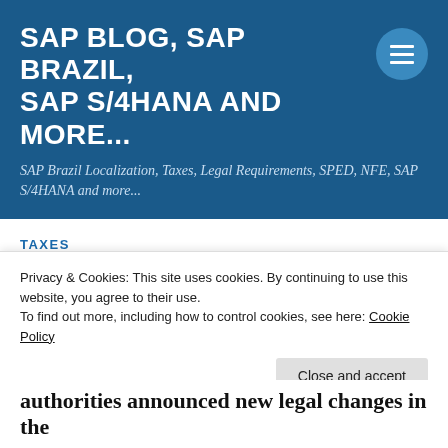SAP BLOG, SAP BRAZIL, SAP S/4HANA AND MORE...
SAP Brazil Localization, Taxes, Legal Requirements, SPED, NFE, SAP S/4HANA and more...
TAXES
Technical Note 2018.005
Privacy & Cookies: This site uses cookies. By continuing to use this website, you agree to their use.
To find out more, including how to control cookies, see here: Cookie Policy
authorities announced new legal changes in the